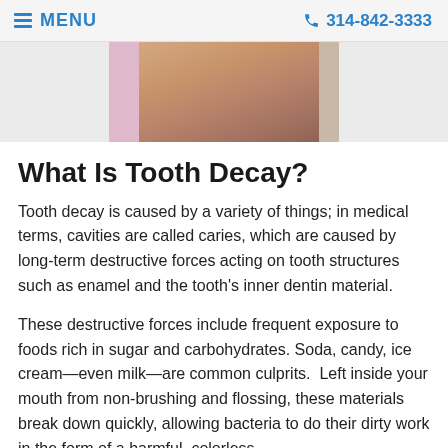≡ MENU   📞 314-842-3333
[Figure (photo): Partial photo of a person's face/neck area with a pink background, cropped at the top of the page]
What Is Tooth Decay?
Tooth decay is caused by a variety of things; in medical terms, cavities are called caries, which are caused by long-term destructive forces acting on tooth structures such as enamel and the tooth's inner dentin material.
These destructive forces include frequent exposure to foods rich in sugar and carbohydrates. Soda, candy, ice cream—even milk—are common culprits.  Left inside your mouth from non-brushing and flossing, these materials break down quickly, allowing bacteria to do their dirty work in the form of a harmful, colorless